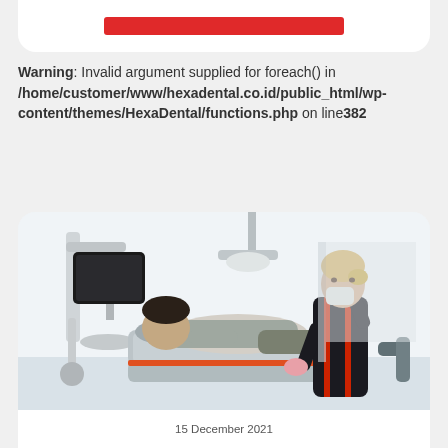[Figure (other): Red bar/button element inside a white rounded card at the top of the page]
Warning: Invalid argument supplied for foreach() in /home/customer/www/hexadental.co.id/public_html/wp-content/themes/HexaDental/functions.php on line 382
[Figure (photo): Dental office photo showing a dentist (blonde woman in dark uniform with red stripe, wearing mask) standing over a patient reclined in a dental chair. Dental equipment including a monitor arm is visible in the background.]
15 December 2021